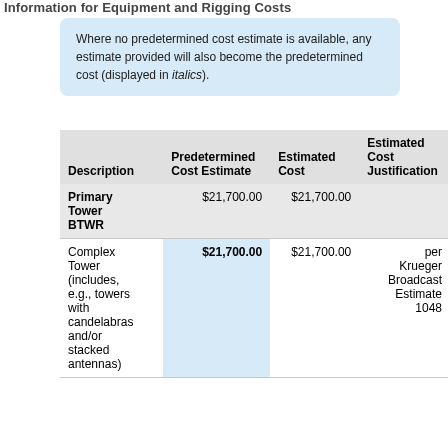Information for Equipment and Rigging Costs
Where no predetermined cost estimate is available, any estimate provided will also become the predetermined cost (displayed in italics).
| Description | Predetermined Cost Estimate | Estimated Cost | Estimated Cost Justification |
| --- | --- | --- | --- |
| Primary Tower BTWR | $21,700.00 | $21,700.00 |  |
| Complex Tower (includes, e.g., towers with candelabras and/or stacked antennas) | $21,700.00 | $21,700.00 | per Krueger Broadcast Estimate 1048 |